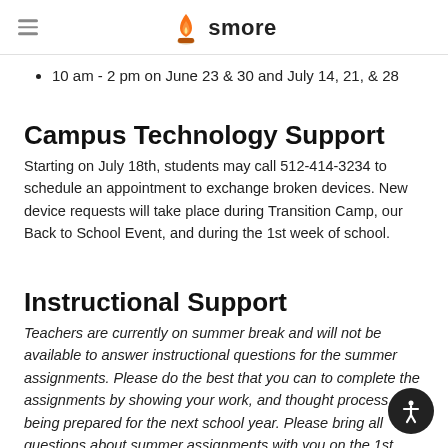smore
10 am - 2 pm on June 23 & 30 and July 14, 21, & 28
Campus Technology Support
Starting on July 18th, students may call 512-414-3234 to schedule an appointment to exchange broken devices. New device requests will take place during Transition Camp, our Back to School Event, and during the 1st week of school.
Instructional Support
Teachers are currently on summer break and will not be available to answer instructional questions for the summer assignments. Please do the best that you can to complete the assignments by showing your work, and thought process, and being prepared for the next school year. Please bring all questions about summer assignments with you on the 1st